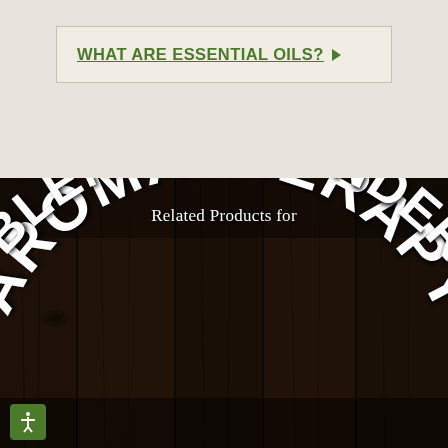WHAT ARE ESSENTIAL OILS? ▶
[Figure (photo): Dark wood plank background with curved text overlay reading 'Related Products for AROMATHERAPY OIL BLEND: LAVENDER RO...' in white bold font on dark wooden surface]
Related Products for
AROMATHERAPY OIL BLEND: LAVENDER RO...